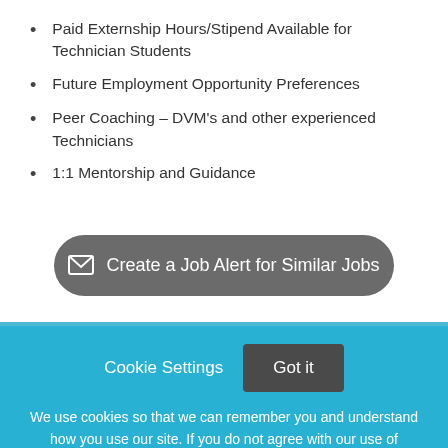Paid Externship Hours/Stipend Available for Technician Students
Future Employment Opportunity Preferences
Peer Coaching – DVM's and other experienced Technicians
1:1 Mentorship and Guidance
✉ Create a Job Alert for Similar Jobs
Cookie Settings   Got it
We use cookies so that we can remember you and understand how you use our site. If you do not agree with our use of cookies, please change the current settings found in our Cookie Policy. Otherwise, you agree to the use of the cookies as they are currently set.